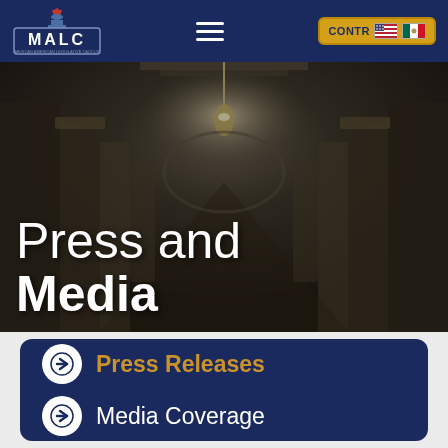[Figure (screenshot): MALC website navigation bar with logo, hamburger menu, and CONTR button with US and Mexico flags]
[Figure (photo): Interior hallway of a government building (likely Texas Capitol) with ornate columns and hanging light, dimly lit]
Press and Media
[Figure (screenshot): Dark navy card with two navigation links: arrow circle icon + Press Releases (gold text) and arrow circle icon + Media Coverage (white text)]